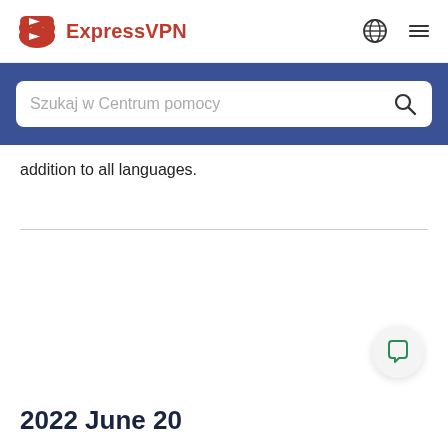[Figure (logo): ExpressVPN logo with red shield/arrow icon and red bold text 'ExpressVPN']
[Figure (screenshot): Blue search bar area with white rounded search input containing placeholder text 'Szukaj w Centrum pomocy' and a search icon]
addition to all languages.
2022 June 20